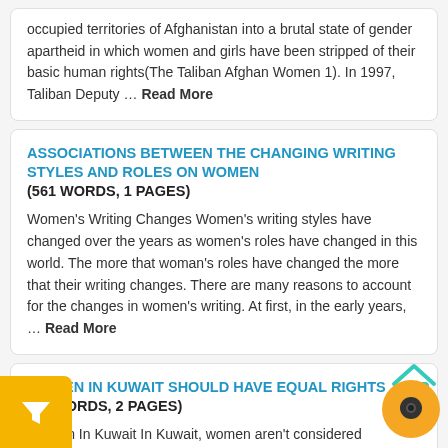occupied territories of Afghanistan into a brutal state of gender apartheid in which women and girls have been stripped of their basic human rights(The Taliban Afghan Women 1). In 1997, Taliban Deputy … Read More
ASSOCIATIONS BETWEEN THE CHANGING WRITING STYLES AND ROLES ON WOMEN
(561 WORDS, 1 PAGES)
Women's Writing Changes Women's writing styles have changed over the years as women's roles have changed in this world. The more that woman's roles have changed the more that their writing changes. There are many reasons to account for the changes in women's writing. At first, in the early years, … Read More
WOMEN IN KUWAIT SHOULD HAVE EQUAL RIGHTS
(02 WORDS, 2 PAGES)
Women In Kuwait In Kuwait, women aren't considered